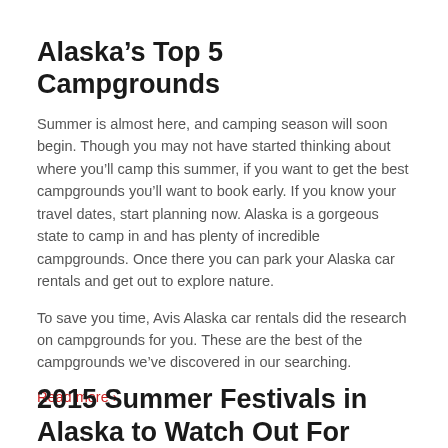Alaska’s Top 5 Campgrounds
Summer is almost here, and camping season will soon begin. Though you may not have started thinking about where you’ll camp this summer, if you want to get the best campgrounds you’ll want to book early. If you know your travel dates, start planning now. Alaska is a gorgeous state to camp in and has plenty of incredible campgrounds. Once there you can park your Alaska car rentals and get out to explore nature.
To save you time, Avis Alaska car rentals did the research on campgrounds for you. These are the best of the campgrounds we’ve discovered in our searching.
Read more ›
2015 Summer Festivals in Alaska to Watch Out For